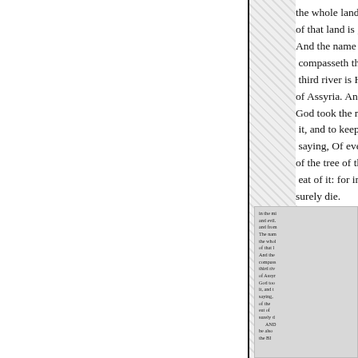the whole land of Havila of that land is good: the And the name of the sec compasseth the whole la third river is Hiddekel: of Assyria. And the four God took the man, and p it, and to keep it. And th saying, Of every tree of of the tree of the knowle eat of it: for in the day t surely die.
[Figure (illustration): Small thumbnail inset of a book page with the same biblical text in smaller font, partially visible, showing continuation of the Genesis passage.]